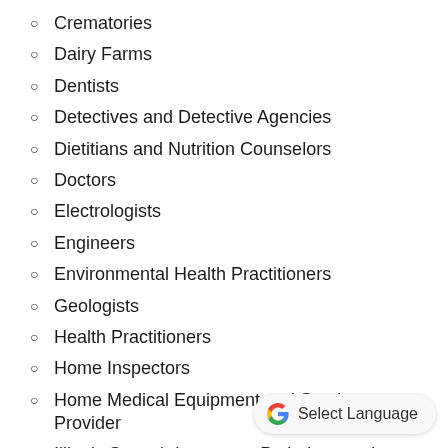Crematories
Dairy Farms
Dentists
Detectives and Detective Agencies
Dietitians and Nutrition Counselors
Doctors
Electrologists
Engineers
Environmental Health Practitioners
Geologists
Health Practitioners
Home Inspectors
Home Medical Equipment and Services Provider
Illinois Speech Language Pathology and Audiologists
Insurance Brokers
Interior Designers and Residential Interior Designers